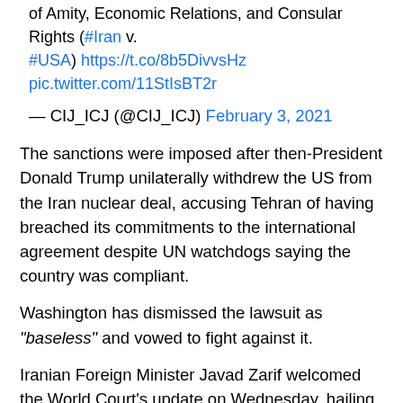of Amity, Economic Relations, and Consular Rights (#Iran v. #USA) https://t.co/8b5DivvsHz pic.twitter.com/11StIsBT2r
— CIJ_ICJ (@CIJ_ICJ) February 3, 2021
The sanctions were imposed after then-President Donald Trump unilaterally withdrew the US from the Iran nuclear deal, accusing Tehran of having breached its commitments to the international agreement despite UN watchdogs saying the country was compliant.
Washington has dismissed the lawsuit as "baseless" and vowed to fight against it.
Iranian Foreign Minister Javad Zarif welcomed the World Court's update on Wednesday, hailing it as a "legal victory."
"Iran has always fully respected int'l law. High time for the US to